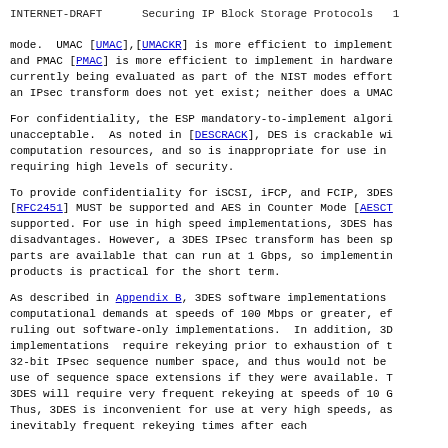INTERNET-DRAFT      Securing IP Block Storage Protocols   1
mode.  UMAC [UMAC],[UMACKR] is more efficient to implement and PMAC [PMAC] is more efficient to implement in hardware currently being evaluated as part of the NIST modes effort an IPsec transform does not yet exist; neither does a UMAC
For confidentiality, the ESP mandatory-to-implement algori unacceptable.  As noted in [DESCRACK], DES is crackable wi computation resources, and so is inappropriate for use in requiring high levels of security.
To provide confidentiality for iSCSI, iFCP, and FCIP, 3DES [RFC2451] MUST be supported and AES in Counter Mode [AESCT supported. For use in high speed implementations, 3DES has disadvantages. However, a 3DES IPsec transform has been sp parts are available that can run at 1 Gbps, so implementin products is practical for the short term.
As described in Appendix B, 3DES software implementations computational demands at speeds of 100 Mbps or greater, ef ruling out software-only implementations.  In addition, 3D implementations  require rekeying prior to exhaustion of t 32-bit IPsec sequence number space, and thus would not be use of sequence space extensions if they were available. T 3DES will require very frequent rekeying at speeds of 10 G Thus, 3DES is inconvenient for use at very high speeds, as inevitably frequent rekeying times after each